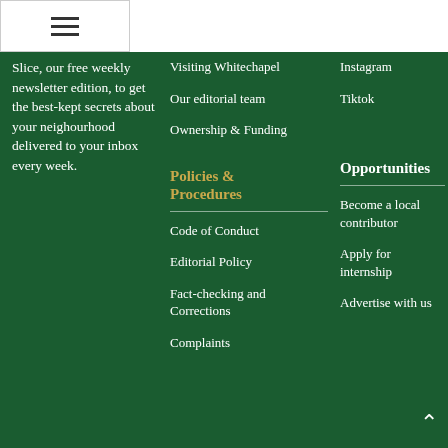[Figure (other): Hamburger menu icon in white box top-left]
Slice, our free weekly newsletter edition, to get the best-kept secrets about your neighourhood delivered to your inbox every week.
Visiting Whitechapel
Our editorial team
Ownership & Funding
Instagram
Tiktok
Policies & Procedures
Code of Conduct
Editorial Policy
Fact-checking and Corrections
Complaints
Opportunities
Become a local contributor
Apply for internship
Advertise with us